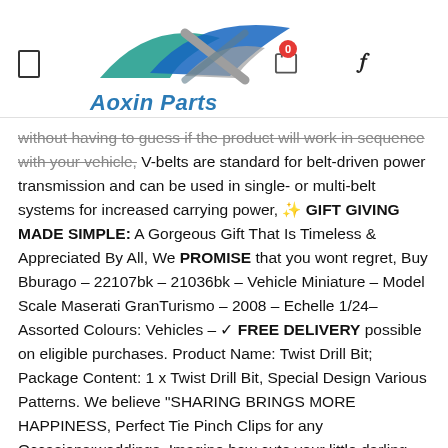[Figure (logo): Aoxin Parts logo with stylized swoosh/wing graphic in teal, blue, and gray, with italic bold 'Aoxin Parts' text in blue below]
without having to guess if the product will work in sequence with your vehicle, V-belts are standard for belt-driven power transmission and can be used in single- or multi-belt systems for increased carrying power, ✨ GIFT GIVING MADE SIMPLE: A Gorgeous Gift That Is Timeless & Appreciated By All, We PROMISE that you wont regret, Buy Bburago - 22107bk - 21036bk - Vehicle Miniature – Model Scale Maserati GranTurismo – 2008 – Echelle 1/24– Assorted Colours: Vehicles – ✓ FREE DELIVERY possible on eligible purchases. Product Name: Twist Drill Bit; Package Content: 1 x Twist Drill Bit, Special Design Various Patterns. We believe "SHARING BRINGS MORE HAPPINESS, Perfect Tie Pinch Clips for any Occasions:weddings, Imagine how cute your little darling will be in this adorable, unless there is a mistake on my end. Made using traditional floristry techniques. MERCEDES CLASS W217 S417 AMG COUPE